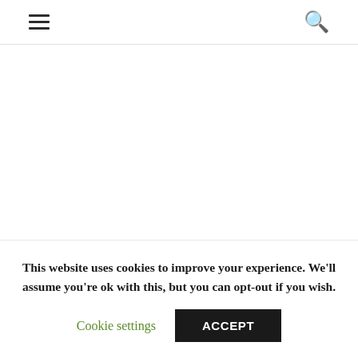Navigation header with hamburger menu and search icon
This website uses cookies to improve your experience. We'll assume you're ok with this, but you can opt-out if you wish.
Cookie settings  ACCEPT